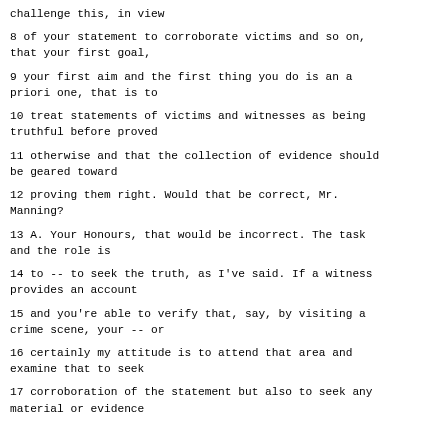challenge this, in view
8 of your statement to corroborate victims and so on, that your first goal,
9 your first aim and the first thing you do is an a priori one, that is to
10 treat statements of victims and witnesses as being truthful before proved
11 otherwise and that the collection of evidence should be geared toward
12 proving them right. Would that be correct, Mr. Manning?
13 A. Your Honours, that would be incorrect. The task and the role is
14 to -- to seek the truth, as I've said. If a witness provides an account
15 and you're able to verify that, say, by visiting a crime scene, your -- or
16 certainly my attitude is to attend that area and examine that to seek
17 corroboration of the statement but also to seek any material or evidence